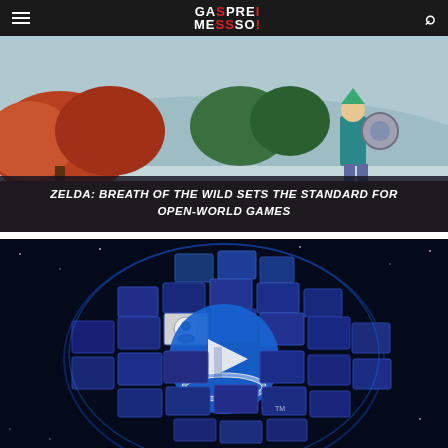GASPREMI MESSSO! — navigation header
[Figure (screenshot): Screenshot from Zelda: Breath of the Wild showing Link standing in an open-world scene with autumn-colored trees and a circular shield on his back. Overlay text reads: ZELDA: BREATH OF THE WILD SETS THE STANDARD FOR OPEN-WORLD GAMES]
ZELDA: BREATH OF THE WILD SETS THE STANDARD FOR OPEN-WORLD GAMES
[Figure (screenshot): Promotional image of PlayStation Now service showing a disco-ball-like sphere made of game thumbnail panels with the PlayStation logo in the center, on a dark starry background]